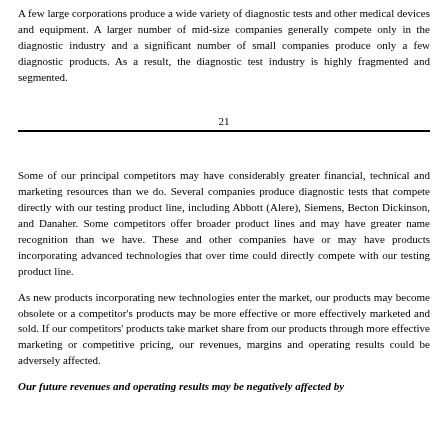A few large corporations produce a wide variety of diagnostic tests and other medical devices and equipment. A larger number of mid-size companies generally compete only in the diagnostic industry and a significant number of small companies produce only a few diagnostic products. As a result, the diagnostic test industry is highly fragmented and segmented.
21
Some of our principal competitors may have considerably greater financial, technical and marketing resources than we do. Several companies produce diagnostic tests that compete directly with our testing product line, including Abbott (Alere), Siemens, Becton Dickinson, and Danaher. Some competitors offer broader product lines and may have greater name recognition than we have. These and other companies have or may have products incorporating advanced technologies that over time could directly compete with our testing product line.
As new products incorporating new technologies enter the market, our products may become obsolete or a competitor's products may be more effective or more effectively marketed and sold. If our competitors' products take market share from our products through more effective marketing or competitive pricing, our revenues, margins and operating results could be adversely affected.
Our future revenues and operating results may be negatively affected by